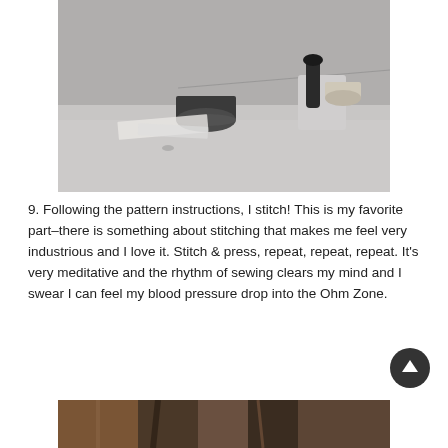[Figure (photo): Close-up photograph of a sewing machine needle area and bobbin/spool, taken from a low angle on a light surface with a gray background.]
9. Following the pattern instructions, I stitch! This is my favorite part–there is something about stitching that makes me feel very industrious and I love it. Stitch & press, repeat, repeat, repeat. It's very meditative and the rhythm of sewing clears my mind and I swear I can feel my blood pressure drop into the Ohm Zone.
[Figure (photo): Partial view of another photograph at the bottom of the page, showing warm-toned colors.]